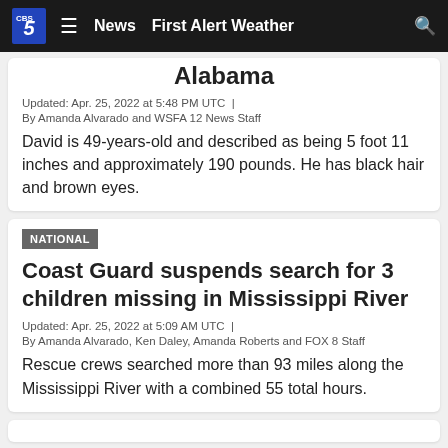CBS 5 | News | First Alert Weather
Alabama
Updated: Apr. 25, 2022 at 5:48 PM UTC  |
By Amanda Alvarado and WSFA 12 News Staff
David is 49-years-old and described as being 5 foot 11 inches and approximately 190 pounds. He has black hair and brown eyes.
NATIONAL
Coast Guard suspends search for 3 children missing in Mississippi River
Updated: Apr. 25, 2022 at 5:09 AM UTC  |
By Amanda Alvarado, Ken Daley, Amanda Roberts and FOX 8 Staff
Rescue crews searched more than 93 miles along the Mississippi River with a combined 55 total hours.